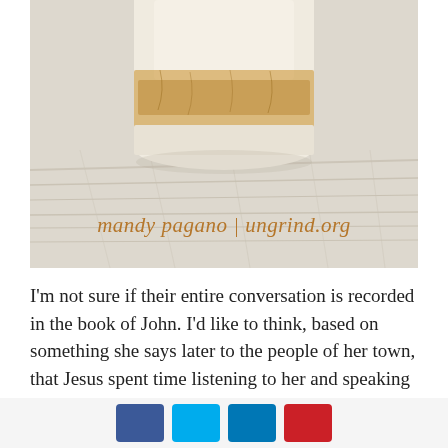[Figure (photo): A ceramic pottery jar/vase with brown and cream glaze sitting on a white wooden surface. Text overlay reads 'mandy pagano | ungrind.org' in a brown handwritten/script font.]
I'm not sure if their entire conversation is recorded in the book of John. I'd like to think, based on something she says later to the people of her town, that Jesus spent time listening to her and speaking